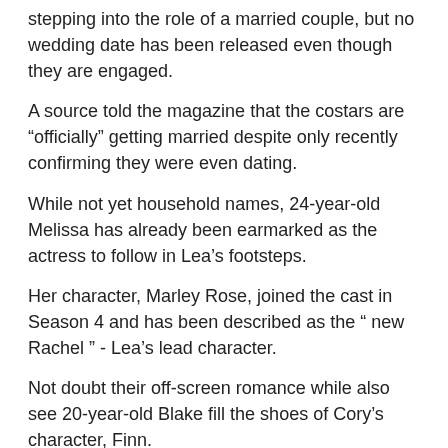stepping into the role of a married couple, but no wedding date has been released even though they are engaged.
A source told the magazine that the costars are “officially” getting married despite only recently confirming they were even dating.
While not yet household names, 24-year-old Melissa has already been earmarked as the actress to follow in Lea’s footsteps.
Her character, Marley Rose, joined the cast in Season 4 and has been described as the “ new Rachel ” - Lea’s lead character.
Not doubt their off-screen romance while also see 20-year-old Blake fill the shoes of Cory’s character, Finn.
The newly engaged pair have already stepped into the roles of two other famous love birds - Sandy and Danny from Grease.
The couple from Glee can also see Olivia with...